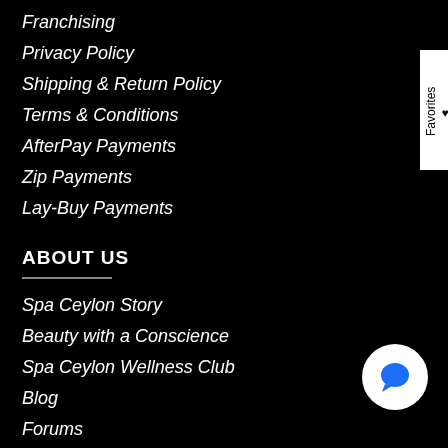Franchising
Privacy Policy
Shipping & Return Policy
Terms & Conditions
AfterPay Payments
Zip Payments
Lay-Buy Payments
ABOUT US
Spa Ceylon Story
Beauty with a Conscience
Spa Ceylon Wellness Club
Blog
Forums
Get In Touch
CONNECT US